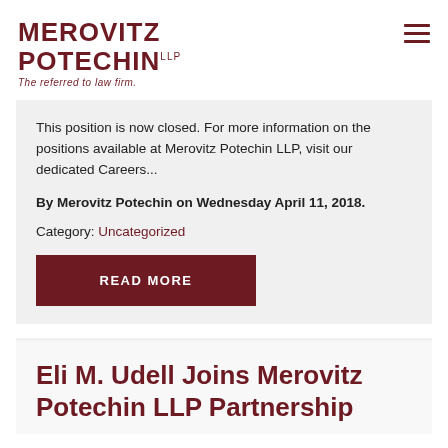[Figure (logo): Merovitz Potechin LLP law firm logo with text 'The referred to law firm.']
This position is now closed. For more information on the positions available at Merovitz Potechin LLP, visit our dedicated Careers...
By Merovitz Potechin on Wednesday April 11, 2018.
Category: Uncategorized
READ MORE
Eli M. Udell Joins Merovitz Potechin LLP Partnership